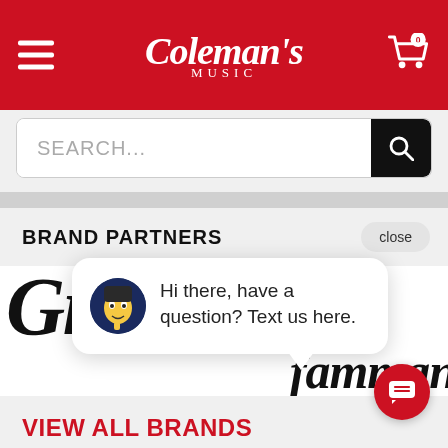[Figure (screenshot): Coleman's Music website mobile header with red background, hamburger menu icon on left, Coleman's Music logo in center, shopping cart icon with 0 badge on right]
[Figure (screenshot): Search bar with SEARCH... placeholder text and black search button]
BRAND PARTNERS
close
[Figure (screenshot): Gibson and Fender brand logos in cursive/script font]
[Figure (screenshot): Chat popup with avatar showing animated character, message: Hi there, have a question? Text us here.]
VIEW ALL BRANDS